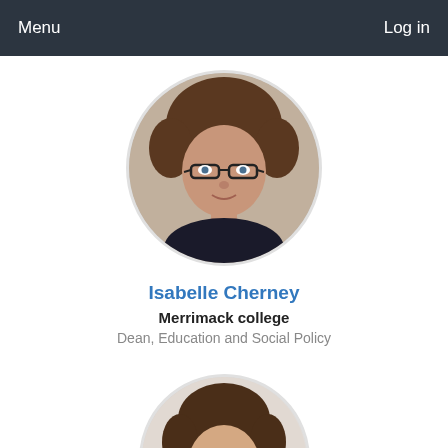Menu    Log in
[Figure (photo): Circular profile photo of Isabelle Cherney, a woman with curly brown hair and glasses, wearing a dark jacket]
Isabelle Cherney
Merrimack college
Dean, Education and Social Policy
[Figure (photo): Circular profile photo partially visible at bottom, showing a woman with brown hair and glasses]